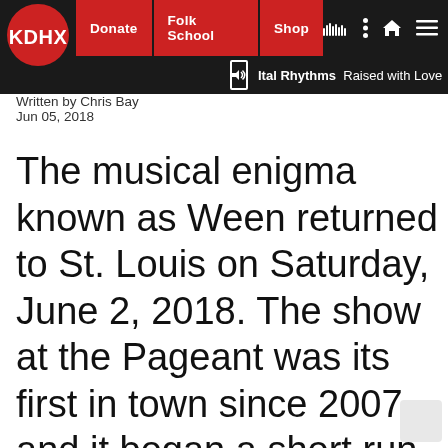KDHX | Donate | Folk School | Shop | Ital Rhythms Raised with Love
Written by Chris Bay
Jun 05, 2018
The musical enigma known as Ween returned to St. Louis on Saturday, June 2, 2018. The show at the Pageant was its first in town since 2007 and it began a short run that will also include dates in Kansas City and Colorado.